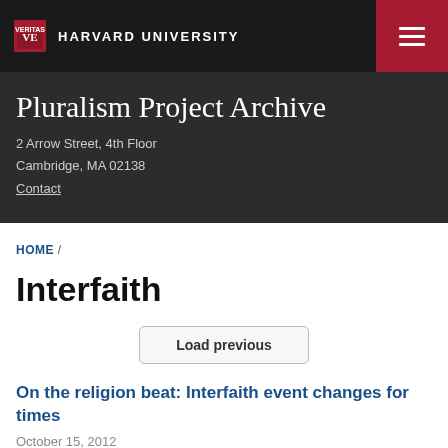HARVARD UNIVERSITY
Pluralism Project Archive
2 Arrow Street, 4th Floor
Cambridge, MA 02138
Contact
HOME /
Interfaith
Load previous
On the religion beat: Interfaith event changes for times
October 15, 2012
The Star Tribune